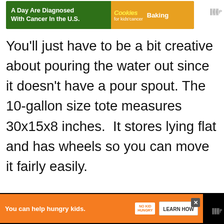[Figure (other): Top advertisement banner: green to orange gradient with text 'A Day Are Diagnosed With Cancer In the U.S.' and 'Cookies for kids cancer Baking' with cookie image]
You’ll just have to be a bit creative about pouring the water out since it doesn’t have a pour spout. The 10-gallon size tote measures 30x15x8 inches.  It stores lying flat and has wheels so you can move it fairly easily.
It isn’t stackable but the totes are sturdy enough to put some other items on top of.  You can also fit them
[Figure (other): Bottom advertisement banner: black background with orange 'No Kid Hungry' ad. Text: 'You can help hungry kids.' with LEARN HOW button and close X button]